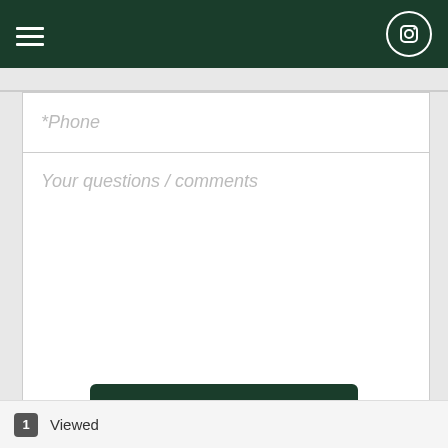[Figure (screenshot): Dark green navigation header bar with hamburger menu icon on the left and Instagram icon on the right]
*Phone
Your questions / comments
SEND EMAIL
1  Viewed